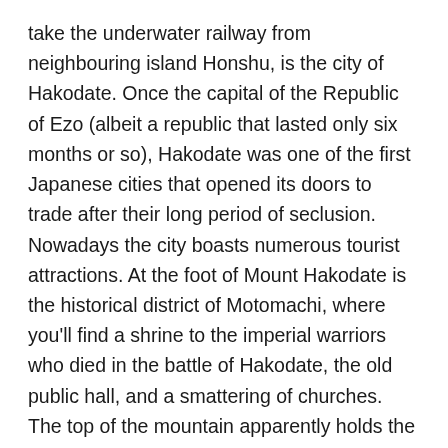take the underwater railway from neighbouring island Honshu, is the city of Hakodate. Once the capital of the Republic of Ezo (albeit a republic that lasted only six months or so), Hakodate was one of the first Japanese cities that opened its doors to trade after their long period of seclusion. Nowadays the city boasts numerous tourist attractions. At the foot of Mount Hakodate is the historical district of Motomachi, where you'll find a shrine to the imperial warriors who died in the battle of Hakodate, the old public hall, and a smattering of churches. The top of the mountain apparently holds the coveted title of being in the top three best night views in the world. There are also a couple of forts and the Goryokaku tower, which offer an insight in to the history of Hokkaido, including the short lived Ezo Republic. The local dish is squid stuffed with rice as part of a ramen dish, or however else you want it, but there are a couple of rogue restaurants in the area who offer alternatives to squid and